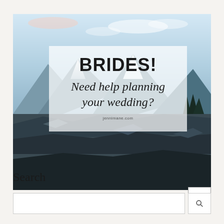[Figure (photo): Outdoor mountain landscape photo with a bride in white standing on rocky terrain. Mountains and sky visible in background. Overlaid with a semi-transparent white box containing text.]
BRIDES!
Need help planning your wedding?
jennimane.com
Search